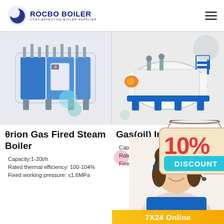[Figure (logo): Rocbo Boiler logo with crescent moon icon and text 'ROCBO BOILER - COST-EFFECTIVE BOILER SUPPLIER']
[Figure (photo): Blue and white industrial gas fired steam boiler unit (left product)]
[Figure (photo): White horizontal gas/oil integrated steam boiler (right product)]
θrion Gas Fired Steam Boiler
Capacity:1-20t/h
Rated thermal efficiency: 100-104%
Fixed working pressure: ≤1.6MPa
Gas(oil) Integrated
[Figure (infographic): 10% DISCOUNT promotional banner hanging sign]
Capacity:0.7
Rated thermal efficiency: 98%
Fixed working pressure:≤1.25MPa
[Figure (photo): Customer service representative with headset]
7X24 Online